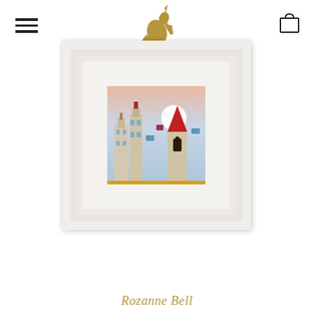[Figure (logo): Hamburger menu icon (three horizontal lines) in upper left]
[Figure (logo): Gold heraldic rampant unicorn logo centered in the header]
[Figure (logo): Shopping bag icon in upper right]
[Figure (illustration): Framed painting in a white ornate frame. The painting depicts a colorful cityscape with stylized buildings, a church with a red spire, a large white moon, and small figures skating or dancing in the foreground on a golden ground. Signed by the artist.]
Rozanne Bell